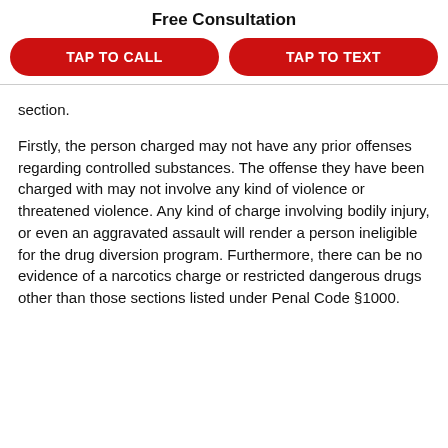Free Consultation
TAP TO CALL
TAP TO TEXT
section.
Firstly, the person charged may not have any prior offenses regarding controlled substances. The offense they have been charged with may not involve any kind of violence or threatened violence. Any kind of charge involving bodily injury, or even an aggravated assault will render a person ineligible for the drug diversion program. Furthermore, there can be no evidence of a narcotics charge or restricted dangerous drugs other than those sections listed under Penal Code §1000.